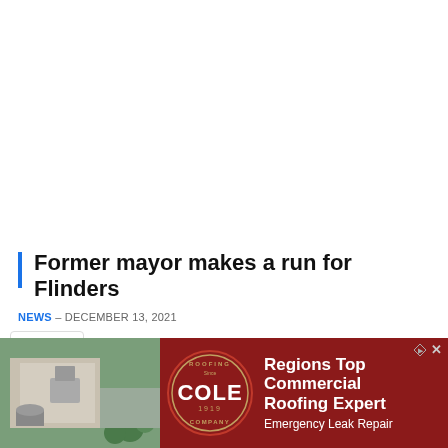Former mayor makes a run for Flinders
NEWS – DECEMBER 13, 2021
MER Mornington Peninsula Shire mayor Cr Despi
[Figure (photo): Cole Roofing Company advertisement showing aerial photo of a commercial building with a roofing company badge/logo and text 'Regions Top Commercial Roofing Expert, Emergency Leak Repair']